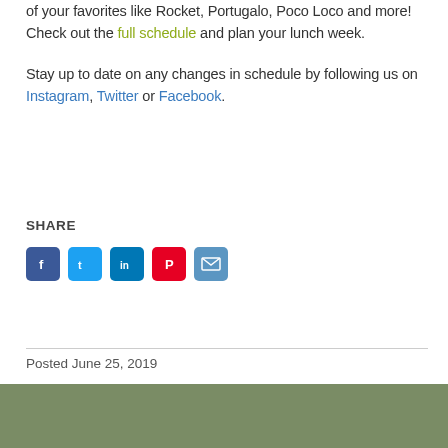of your favorites like Rocket, Portugalo, Poco Loco and more! Check out the full schedule and plan your lunch week.
Stay up to date on any changes in schedule by following us on Instagram, Twitter or Facebook.
SHARE
[Figure (infographic): Social media share buttons: Facebook (blue), Twitter (light blue), LinkedIn (dark blue), Pinterest (red), Email (blue)]
Posted June 25, 2019